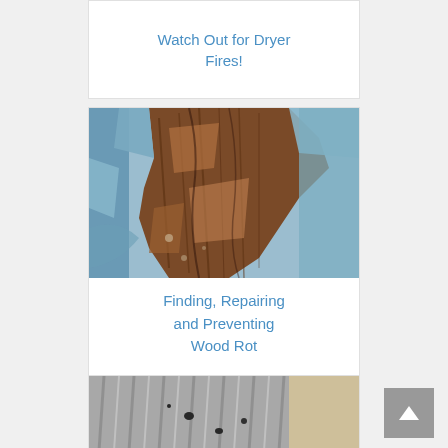Watch Out for Dryer Fires!
[Figure (photo): Close-up photo of rotting and peeling wood with blue painted surface showing severe wood rot damage]
Finding, Repairing and Preventing Wood Rot
[Figure (photo): Close-up photo of moth-eaten or damaged gray fabric/textile with visible holes]